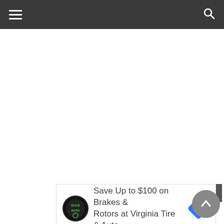Navigation bar with hamburger menu and search icon
[Figure (screenshot): White empty content area]
[Figure (infographic): Advertisement banner: Save Up to $100 on Brakes & Rotors at Virginia Tire & Auto, with Tire & Auto logo and direction arrow icon]
Save Up to $100 on Brakes & Rotors at Virginia Tire & Auto